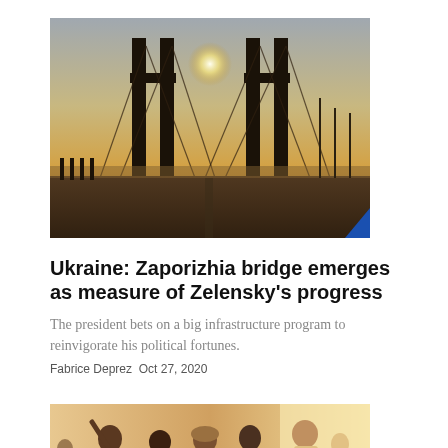[Figure (photo): Bridge tower silhouette against a bright sun with hazy sky and water, viewed from deck level]
Ukraine: Zaporizhia bridge emerges as measure of Zelensky’s progress
The president bets on a big infrastructure program to reinvigorate his political fortunes.
Fabrice Deprez Oct 27, 2020
[Figure (photo): Group of women gathered indoors, some raising hands, in a warm-lit room]